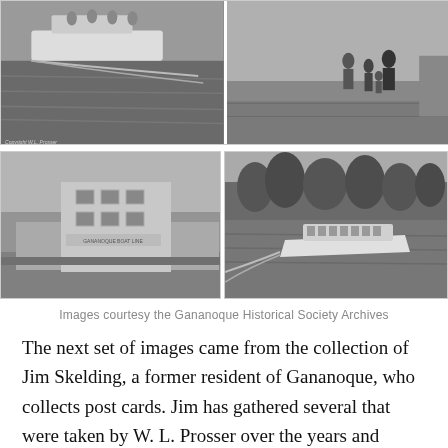[Figure (photo): Black and white photo of a boat moving through water, with passengers visible. Copyright watermark visible at bottom left.]
[Figure (photo): Black and white photo of people walking on a dock or waterfront area.]
[Figure (photo): Black and white photo of a two-story commercial building on a street, appears to be Gananoque Boat Line or similar business.]
[Figure (photo): Black and white photo of a tour boat speeding across water with a forested island in the background.]
Images courtesy the Gananoque Historical Society Archives
The next set of images came from the collection of Jim Skelding, a former resident of Gananoque, who collects post cards. Jim has gathered several that were taken by W. L. Prosser over the years and shared a few that showcase the Thousand